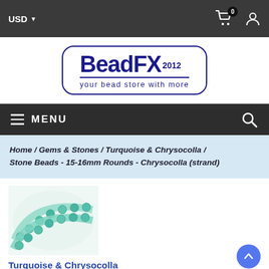USD  0 (cart) (user icon)
[Figure (logo): BeadFX 2012 logo with tagline 'your bead store with more' inside rounded rectangle border]
MENU (hamburger icon) | Search icon
Home / Gems & Stones / Turquoise & Chrysocolla / Stone Beads - 15-16mm Rounds - Chrysocolla (strand)
[Figure (photo): Photo of turquoise and chrysocolla stone bead strands]
Turquoise & Chrysocolla